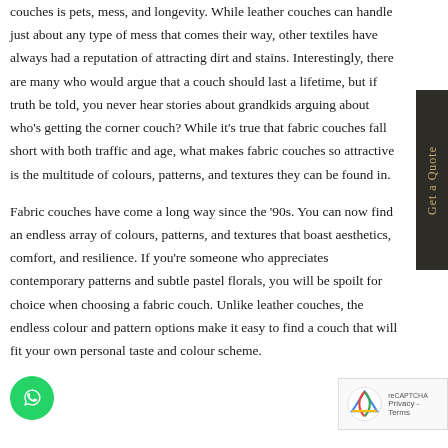couches is pets, mess, and longevity. While leather couches can handle just about any type of mess that comes their way, other textiles have always had a reputation of attracting dirt and stains. Interestingly, there are many who would argue that a couch should last a lifetime, but if truth be told, you never hear stories about grandkids arguing about who's getting the corner couch? While it's true that fabric couches fall short with both traffic and age, what makes fabric couches so attractive is the multitude of colours, patterns, and textures they can be found in.
Fabric couches have come a long way since the '90s. You can now find an endless array of colours, patterns, and textures that boast aesthetics, comfort, and resilience. If you're someone who appreciates contemporary patterns and subtle pastel florals, you will be spoilt for choice when choosing a fabric couch. Unlike leather couches, the endless colour and pattern options make it easy to find a couch that will fit your own personal taste and colour scheme.